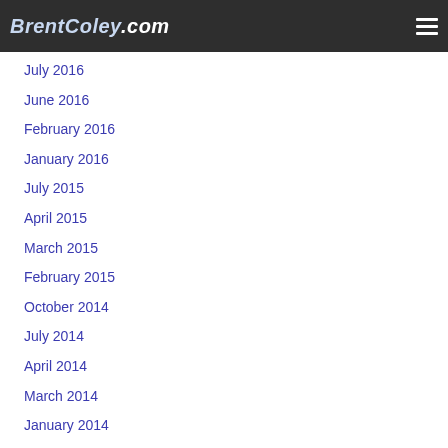BrentColey.com
July 2016
June 2016
February 2016
January 2016
July 2015
April 2015
March 2015
February 2015
October 2014
July 2014
April 2014
March 2014
January 2014
December 2013
October 2013
July 2013
May 2013